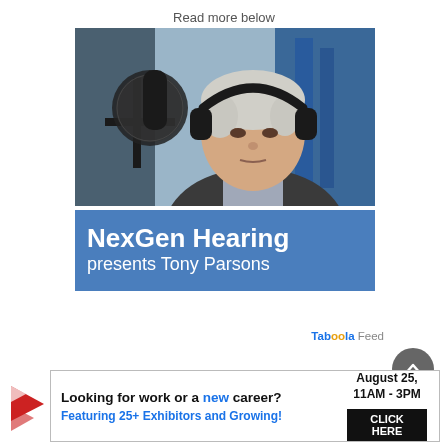Read more below
[Figure (photo): Older man with white hair wearing headphones and sitting in front of a large studio microphone with pop filter, in a recording studio setting. Below the photo is a blue banner reading 'NexGen Hearing presents Tony Parsons']
NexGen Hearing presents Tony Parsons
Taboola Feed
[Figure (infographic): Advertisement banner: 'Looking for work or a new career? August 25, 11AM - 3PM. Featuring 25+ Exhibitors and Growing! CLICK HERE' with a red and white logo on the left.]